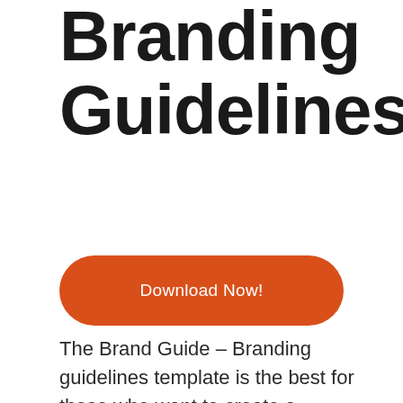Branding Guidelines
Download Now!
The Brand Guide – Branding guidelines template is the best for those who want to create a detailed and comprehensive brand guidelines